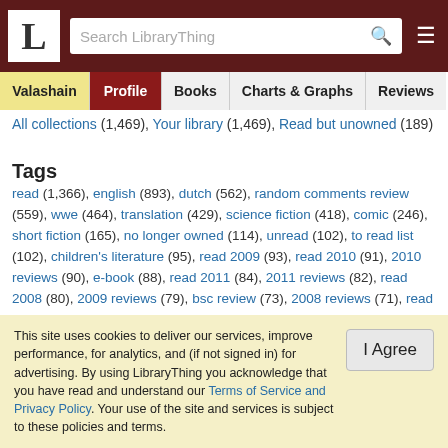LibraryThing header with logo, search bar, and hamburger menu
Valashain | Profile | Books | Charts & Graphs | Reviews
All collections (1,469), Your library (1,469), Read but unowned (189)
Tags
read (1,366), english (893), dutch (562), random comments review (559), wwe (464), translation (429), science fiction (418), comic (246), short fiction (165), no longer owned (114), unread (102), to read list (102), children's literature (95), read 2009 (93), read 2010 (91), 2010 reviews (90), e-book (88), read 2011 (84), 2011 reviews (82), read 2008 (80), 2009 reviews (79), bsc review (73), 2008 reviews (71), read 2012 (64), 2007 reviews (62), read 2007 (62), ...
This site uses cookies to deliver our services, improve performance, for analytics, and (if not signed in) for advertising. By using LibraryThing you acknowledge that you have read and understand our Terms of Service and Privacy Policy. Your use of the site and services is subject to these policies and terms.